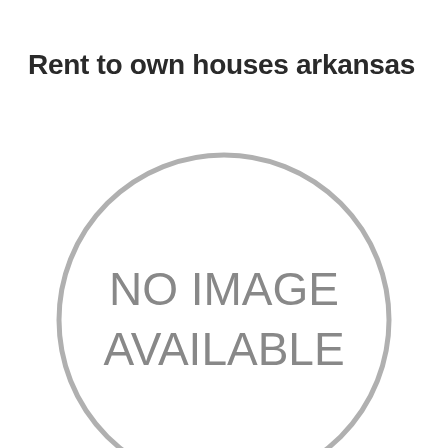Rent to own houses arkansas
[Figure (illustration): A large circle with a grey border containing the text 'NO IMAGE AVAILABLE' in grey sans-serif letters on a white background.]